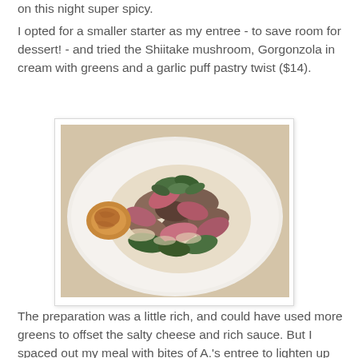on this night super spicy.
I opted for a smaller starter as my entree - to save room for dessert! - and tried the Shiitake mushroom, Gorgonzola in cream with greens and a garlic puff pastry twist ($14).
[Figure (photo): A white plate with Shiitake mushroom, Gorgonzola in cream with greens and a garlic puff pastry twist dish — mushrooms, leafy greens, and cream sauce with a pastry roll on the side.]
The preparation was a little rich, and could have used more greens to offset the salty cheese and rich sauce. But I spaced out my meal with bites of A.'s entree to lighten up the overall effect.